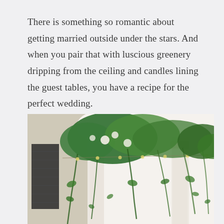There is something so romantic about getting married outside under the stars. And when you pair that with luscious greenery dripping from the ceiling and candles lining the guest tables, you have a recipe for the perfect wedding.
[Figure (photo): A lush floral and greenery installation hanging from the ceiling of an elegant venue with white arched columns and stone walls, featuring cascading vines and white flowers with string lights.]